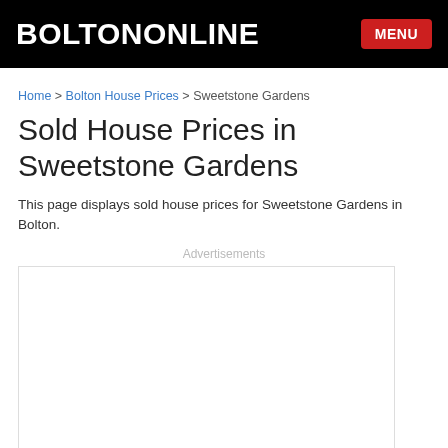BOLTONONLINE
Home > Bolton House Prices > Sweetstone Gardens
Sold House Prices in Sweetstone Gardens
This page displays sold house prices for Sweetstone Gardens in Bolton.
Advertisements
[Figure (other): Empty advertisement placeholder box]